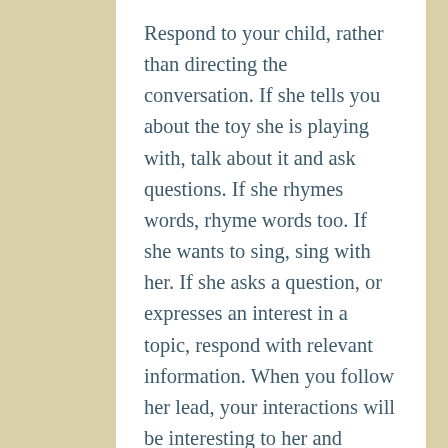Respond to your child, rather than directing the conversation. If she tells you about the toy she is playing with, talk about it and ask questions. If she rhymes words, rhyme words too. If she wants to sing, sing with her. If she asks a question, or expresses an interest in a topic, respond with relevant information. When you follow her lead, your interactions will be interesting to her and appropriate for her age and language level.
Prove the Power of